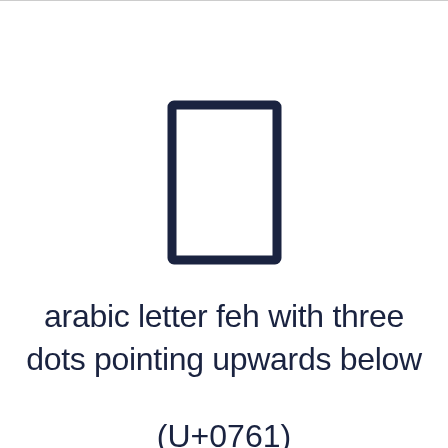[Figure (illustration): A tall narrow rectangle outlined in dark navy blue, representing a Unicode character glyph box for arabic letter feh with three dots pointing upwards below (U+0761)]
arabic letter feh with three dots pointing upwards below
(U+0761)